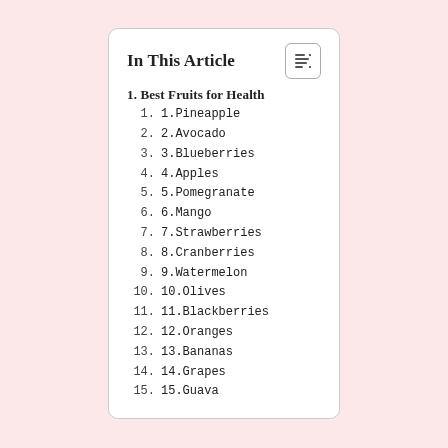In This Article
1. Best Fruits for Health
1. 1.Pineapple
2. 2.Avocado
3. 3.Blueberries
4. 4.Apples
5. 5.Pomegranate
6. 6.Mango
7. 7.Strawberries
8. 8.Cranberries
9. 9.Watermelon
10. 10.Olives
11. 11.Blackberries
12. 12.Oranges
13. 13.Bananas
14. 14.Grapes
15. 15.Guava